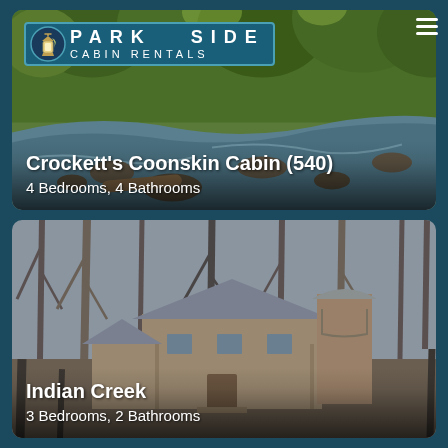[Figure (photo): Parkside Cabin Rentals website screenshot showing two cabin listings. Top card: forest creek/stream scene with green trees and mossy rocks, featuring the Parkside Cabin Rentals logo at top left and hamburger menu icon at top right. Bottom card: photo of a log cabin nestled among bare winter trees.]
Crockett's Coonskin Cabin (540)
4 Bedrooms, 4 Bathrooms
Indian Creek
3 Bedrooms, 2 Bathrooms